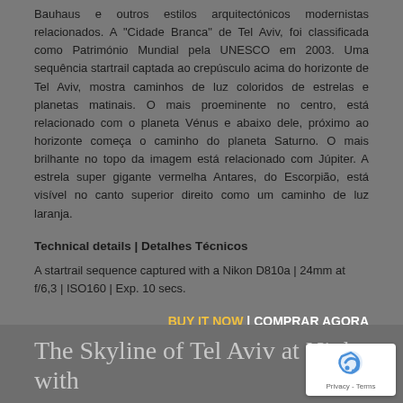Bauhaus e outros estilos arquitectónicos modernistas relacionados. A "Cidade Branca" de Tel Aviv, foi classificada como Património Mundial pela UNESCO em 2003. Uma sequência startrail captada ao crepúsculo acima do horizonte de Tel Aviv, mostra caminhos de luz coloridos de estrelas e planetas matinais. O mais proeminente no centro, está relacionado com o planeta Vénus e abaixo dele, próximo ao horizonte começa o caminho do planeta Saturno. O mais brilhante no topo da imagem está relacionado com Júpiter. A estrela super gigante vermelha Antares, do Escorpião, está visível no canto superior direito como um caminho de luz laranja.
Technical details | Detalhes Técnicos
A startrail sequence captured with a Nikon D810a | 24mm at f/6.3 | ISO160 | Exp. 10 secs.
BUY IT NOW | COMPRAR AGORA
The Skyline of Tel Aviv at Night with